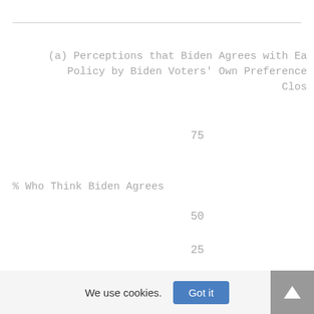(a) Perceptions that Biden Agrees with Ea Policy by Biden Voters' Own Preference Clos
% Who Think Biden Agrees
75
50
25
0
We use cookies.